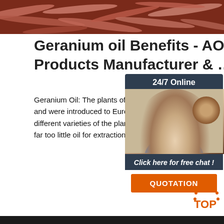[Figure (photo): Close-up photo of red/pink earthworms tangled together]
Geranium oil Benefits - AOS Products Manufacturer & …
Geranium Oil: The plants of Geranium originated Africa,as well as Reunion, Madagascar, Egypt and were introduced to European countries such Spain and France in the 17th century.There are different varieties of the plant, yet only 10 supply in viable quantities, as the normal garden geranium far too little oil for extraction.
[Figure (photo): Customer service representative with headset, 24/7 Online chat widget with QUOTATION button]
Get Price
[Figure (photo): Dark background image with a triangular white/grey shape, TOP logo in orange in the corner]